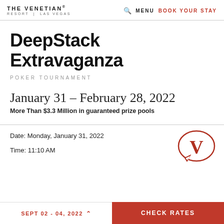THE VENETIAN RESORT | LAS VEGAS   MENU   BOOK YOUR STAY
DeepStack Extravaganza
POKER TOURNAMENT
January 31 – February 28, 2022
More Than $3.3 Million in guaranteed prize pools
Date: Monday, January 31, 2022
Time: 11:10 AM
[Figure (logo): Venetian 'V' letter in dark red inside a speech-bubble oval outline]
SEPT 02 - 04, 2022   CHECK RATES